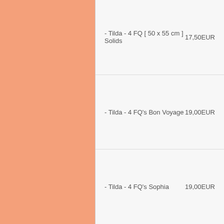[Figure (other): Salmon/peach colored rectangular panel on the left side of the page]
| Item | Price |
| --- | --- |
| - Tilda - 4 FQ [ 50 x 55 cm ] Solids | 17,50EUR |
| - Tilda - 4 FQ's Bon Voyage | 19,00EUR |
| - Tilda - 4 FQ's Sophia | 19,00EUR |